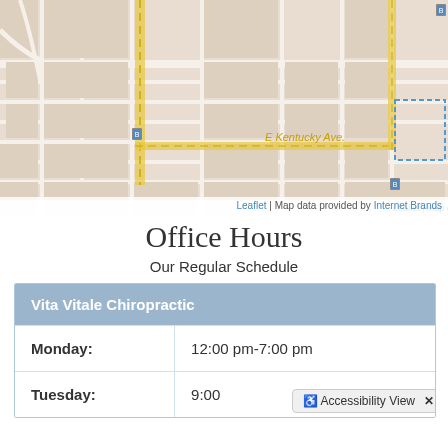[Figure (map): Street map showing area near South Colorado Boulevard, E Kentucky Ave, AFC Urgent Care, with bus stop markers and a yellow highlighted route. Map attribution: Leaflet | Map data provided by Internet Brands.]
Office Hours
Our Regular Schedule
| Vita Vitale Chiropractic |  |
| --- | --- |
| Monday: | 12:00 pm-7:00 pm |
| Tuesday: | 9:00 am-4:00 pm |